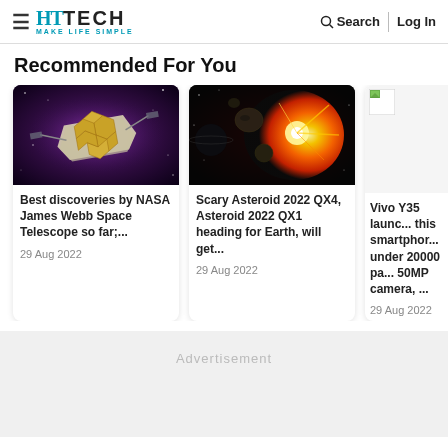HT TECH MAKE LIFE SIMPLE | Search | Log In
Recommended For You
[Figure (photo): James Webb Space Telescope in space with gold hexagonal mirror segments against purple nebula background]
Best discoveries by NASA James Webb Space Telescope so far;... Check this list...
29 Aug 2022
[Figure (photo): Scary asteroid approaching Earth with fiery explosion and planets in background]
Scary Asteroid 2022 QX4, Asteroid 2022 QX1 heading for Earth, will get...
29 Aug 2022
[Figure (photo): Vivo Y35 smartphone image (partially visible, broken image icon)]
Vivo Y35 launc... this smartphor... under 20000 pa... 50MP camera, ...
29 Aug 2022
Advertisement